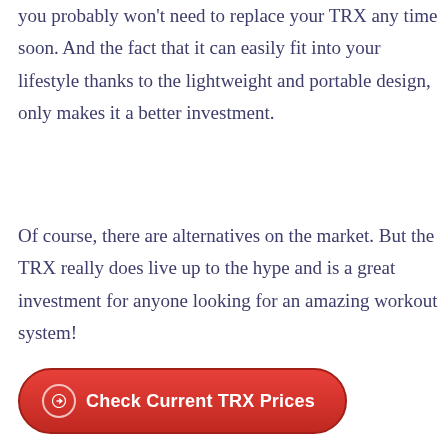you probably won't need to replace your TRX any time soon. And the fact that it can easily fit into your lifestyle thanks to the lightweight and portable design, only makes it a better investment.
Of course, there are alternatives on the market. But the TRX really does live up to the hype and is a great investment for anyone looking for an amazing workout system!
Check Current TRX Prices